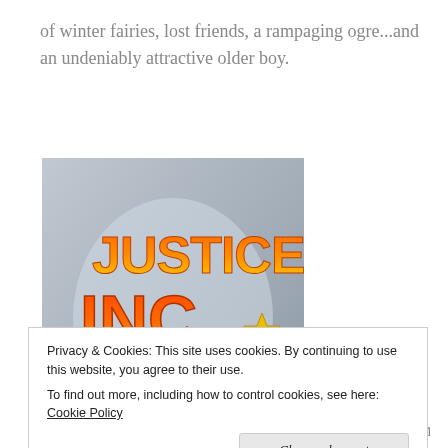of winter fairies, lost friends, a rampaging ogre...and an undeniably attractive older boy.
[Figure (illustration): Book cover for 'Justice, Inc.' by J.P. Medved, showing a soldier in tactical gear aiming a rifle, with bold orange and yellow text on a gray background.]
Privacy & Cookies: This site uses cookies. By continuing to use this website, you agree to their use.
To find out more, including how to control cookies, see here: Cookie Policy
Close and accept
finds himself in the sights of a shadowy arm of the United States